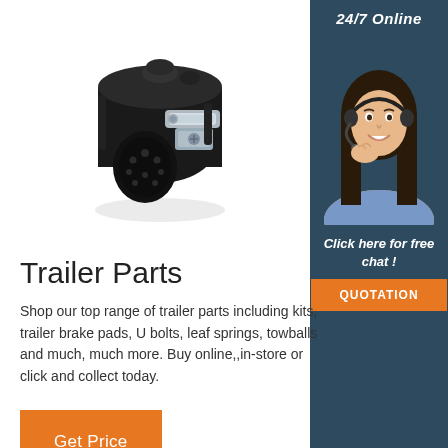[Figure (photo): Black trailer electrical connector socket with chrome clamp mechanism, viewed from front-side angle on white background]
[Figure (photo): Sidebar with dark blue-grey background showing a smiling female customer service agent wearing a headset, with '24/7 Online' label at top, 'Click here for free chat!' text, and an orange QUOTATION button]
Trailer Parts
Shop our top range of trailer parts including kits, trailer brake pads, U bolts, leaf springs, towballs and much, much more. Buy online,,in-store or click and collect today.
Get Price